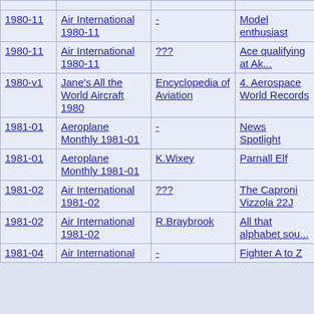| Date | Publication | Author | Article/Title |
| --- | --- | --- | --- |
| 1980-11 | Air International 1980-11 | - | Model enthusiast |
| 1980-11 | Air International 1980-11 | ??? | Ace qualifying at Ak... |
| 1980-v1 | Jane's All the World Aircraft 1980 | Encyclopedia of Aviation | 4. Aerospace World Records |
| 1981-01 | Aeroplane Monthly 1981-01 | - | News Spotlight |
| 1981-01 | Aeroplane Monthly 1981-01 | K.Wixey | Parnall Elf |
| 1981-02 | Air International 1981-02 | ??? | The Caproni Vizzola 22J |
| 1981-02 | Air International 1981-02 | R.Braybrook | All that alphabet sou... |
| 1981-04 | Air International | - | Fighter A to Z |